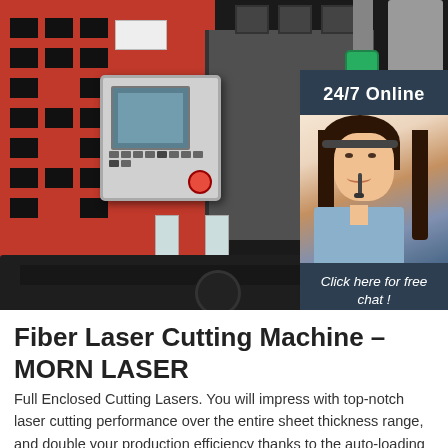[Figure (photo): Fiber laser cutting machine (MORN LASER) in industrial setting with red/grey CNC machine body, control panel with touchscreen, and cutting debris on the floor. Overlaid sidebar shows a customer service agent with headset and '24/7 Online', 'Click here for free chat!', and 'QUOTATION' button.]
Fiber Laser Cutting Machine – MORN LASER
Full Enclosed Cutting Lasers. You will impress with top-notch laser cutting performance over the entire sheet thickness range, and double your production efficiency thanks to the auto-loading